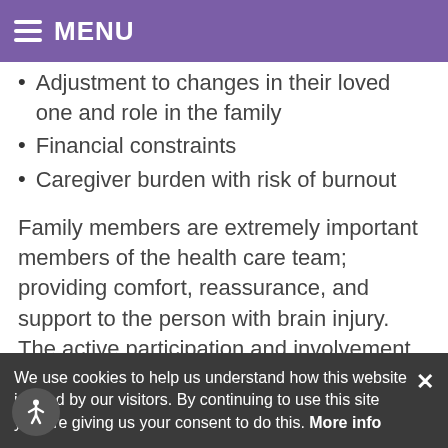MENU
Adjustment to changes in their loved one and role in the family
Financial constraints
Caregiver burden with risk of burnout
Family members are extremely important members of the health care team; providing comfort, reassurance, and support to the person with brain injury. The active participation and involvement of family members, caregivers, friends, and co-workers can significantly help the individual with brain injury successfully return home and to the
We use cookies to help us understand how this website is used by our visitors. By continuing to use this site you are giving us your consent to do this. More info